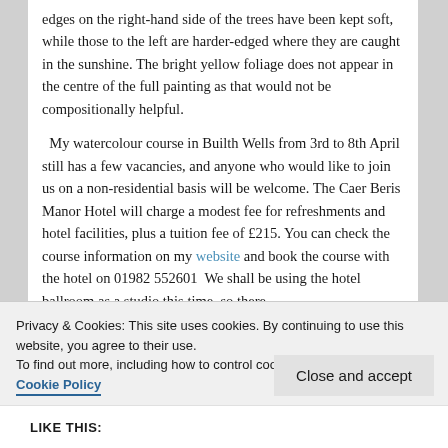edges on the right-hand side of the trees have been kept soft, while those to the left are harder-edged where they are caught in the sunshine. The bright yellow foliage does not appear in the centre of the full painting as that would not be compositionally helpful.

My watercolour course in Builth Wells from 3rd to 8th April still has a few vacancies, and anyone who would like to join us on a non-residential basis will be welcome. The Caer Beris Manor Hotel will charge a modest fee for refreshments and hotel facilities, plus a tuition fee of £215. You can check the course information on my website and book the course with the hotel on 01982 552601  We shall be using the hotel ballroom as a studio this time, so there
Privacy & Cookies: This site uses cookies. By continuing to use this website, you agree to their use.
To find out more, including how to control cookies, see here: Cookie Policy
Close and accept
LIKE THIS: